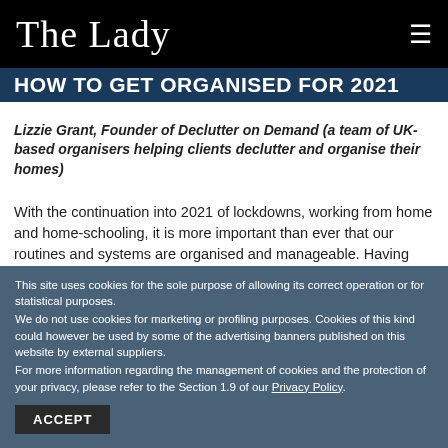The Lady
HOW TO GET ORGANISED FOR 2021
Lizzie Grant, Founder of Declutter on Demand (a team of UK-based organisers helping clients declutter and organise their homes)
With the continuation into 2021 of lockdowns, working from home and home-schooling, it is more important than ever that our routines and systems are organised and manageable. Having these in place will help us preserve our time and energy for the things that really matter. Here are our 5 top tips on what to focus on to get ahead this year:
This site uses cookies for the sole purpose of allowing its correct operation or for statistical purposes.
We do not use cookies for marketing or profiling purposes. Cookies of this kind could however be used by some of the advertising banners published on this website by external suppliers.
For more information regarding the management of cookies and the protection of your privacy, please refer to the Section 1.9 of our Privacy Policy.
ACCEPT